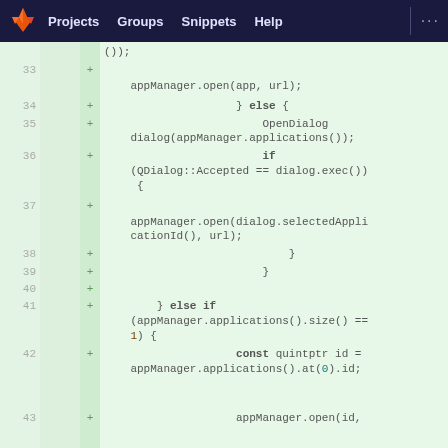GitLab — Projects  Groups  Snippets  Help
[Figure (screenshot): GitLab code diff view showing lines 33-43 of a C++ file. Added lines (marked with +) show appManager.open(), OpenDialog dialog(), if (QDialog::Accepted == dialog.exec()), appManager.open(dialog.selectedApplicationId(), url), closing braces, } else if (appManager.applications().size() == 1) {, const quintptr id = appManager.applications().at(0).id;, and appManager.open(id,]